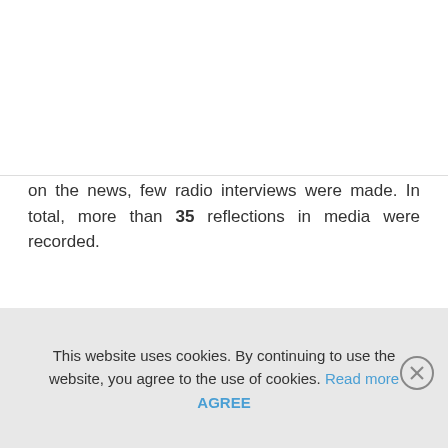[Figure (logo): Colorful hand/finger logo with multiple colored strips (blue, yellow, green, red, orange)]
[Figure (other): Hamburger menu icon (three horizontal lines) in a light gray circle]
on the news, few radio interviews were made. In total, more than 35 reflections in media were recorded.
[Figure (photo): Broken image placeholder with alt text: IMG_6713 copy 2]
This website uses cookies. By continuing to use the website, you agree to the use of cookies. Read more AGREE